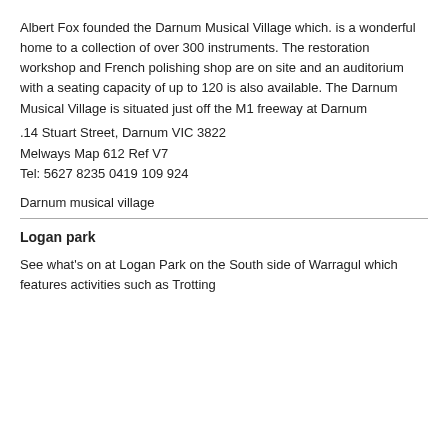Albert Fox founded the Darnum Musical Village which. is a wonderful home to a collection of over 300 instruments. The restoration workshop and French polishing shop are on site and an auditorium with a seating capacity of up to 120 is also available. The Darnum Musical Village is situated just off the M1 freeway at Darnum
.14 Stuart Street, Darnum VIC 3822
Melways Map 612 Ref V7
Tel: 5627 8235 0419 109 924
Darnum musical village
Logan park
See what's on at Logan Park on the South side of Warragul which features activities such as Trotting